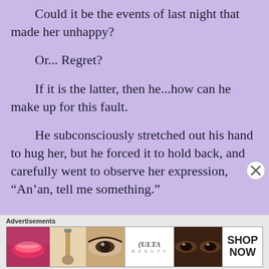Could it be the events of last night that made her unhappy?
Or... Regret?
If it is the latter, then he...how can he make up for this fault.
He subconsciously stretched out his hand to hug her, but he forced it to hold back, and carefully went to observe her expression, “An’an, tell me something.”
[Figure (other): Ulta Beauty advertisement banner showing makeup product images including lips with lipstick, makeup brush, eye with eyeshadow, Ulta logo, dramatic eye makeup, and SHOP NOW call to action]